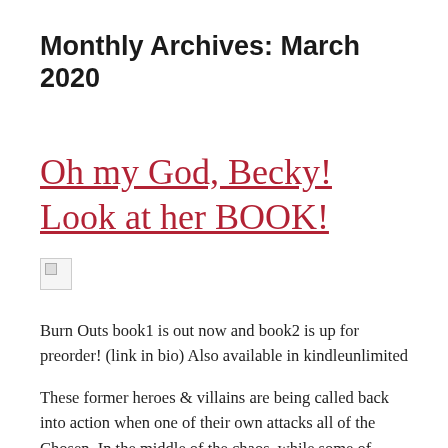Monthly Archives: March 2020
Oh my God, Becky! Look at her BOOK!
[Figure (other): Broken/missing image placeholder thumbnail]
Burn Outs book1 is out now and book2 is up for preorder! (link in bio) Also available in kindleunlimited
These former heroes & villains are being called back into action when one of their own attacks all of the Chosen. In the middle of the chaos, while some of them are getting their powers back mysteriously and gathering to stop the